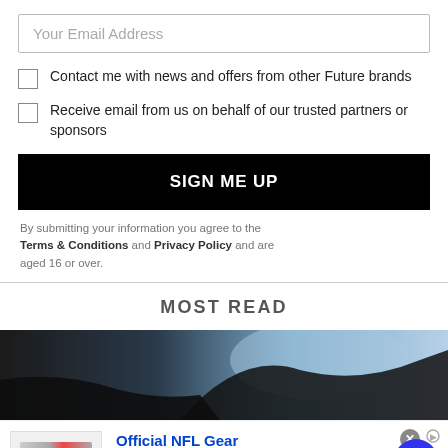Your Email Address
Contact me with news and offers from other Future brands
Receive email from us on behalf of our trusted partners or sponsors
SIGN ME UP
By submitting your information you agree to the Terms & Conditions and Privacy Policy and are aged 16 or over.
MOST READ
[Figure (photo): Dark colored vehicle or object against a light blue sky background]
Official NFL Gear
Get Your Favorite Team's Gear Here
www.nflshop.com